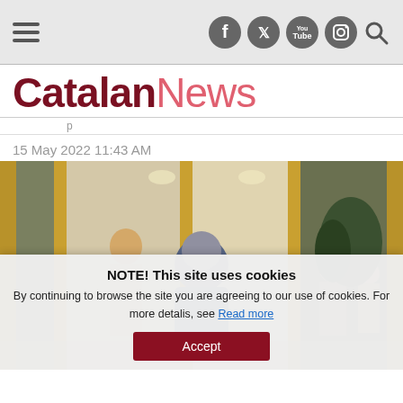Catalan News — navigation bar with hamburger menu and social icons (Facebook, Twitter, YouTube, Instagram, Search)
CatalanNews
15 May 2022 11:43 AM
[Figure (photo): Person in blue coat entering a luxury retail store with gold-framed revolving doors, mannequins visible inside, other shoppers in background]
NOTE! This site uses cookies
By continuing to browse the site you are agreeing to our use of cookies. For more detalis, see Read more
Accept